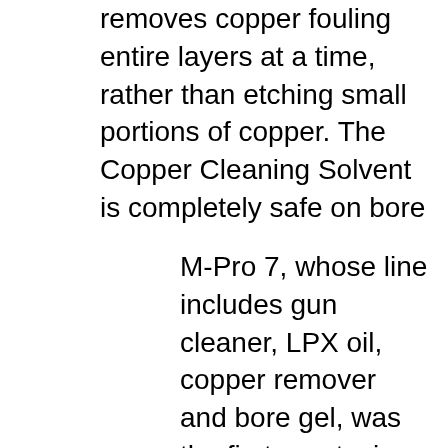removes copper fouling entire layers at a time, rather than etching small portions of copper. The Copper Cleaning Solvent is completely safe on bore
M-Pro 7, whose line includes gun cleaner, LPX oil, copper remover and bore gel, was the first non-toxic, non-flammable gun care system in the industry. M-Pro 7 Gun Cleaner is a non-petroleum based product that contains zero harmful chemicalsBвЂ"but plenty of carbon cleaning power. Originally designed to clean the carbon off of jet engines, M-Pro Cu+2 Copper